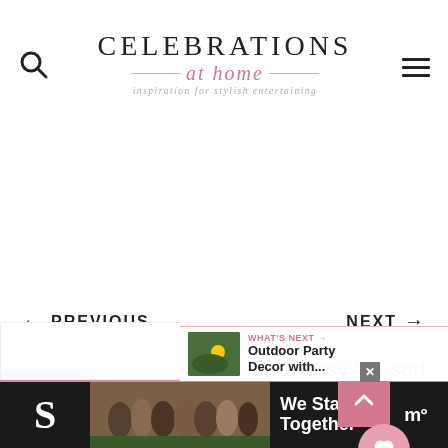CELEBRATIONS at home — inspiration for stylish entertaining
← PREVIOUS
NEXT →
Cowboy Themed Party Ideas
Easy Dessert Parfaits Recipe
WHAT'S NEXT → Outdoor Party Decor with...
[Figure (screenshot): We Stand Together advertisement banner with group of people photo]